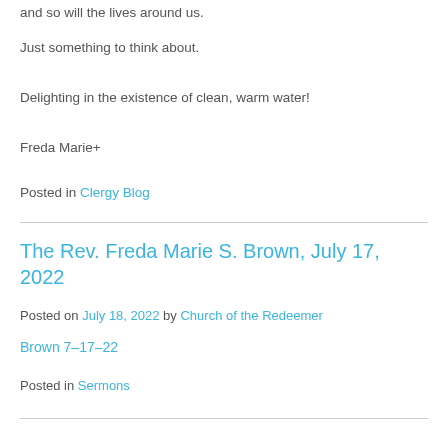and so will the lives around us.
Just something to think about.
Delighting in the existence of clean, warm water!
Freda Marie+
Posted in Clergy Blog
The Rev. Freda Marie S. Brown, July 17, 2022
Posted on July 18, 2022 by Church of the Redeemer
Brown 7-17-22
Posted in Sermons